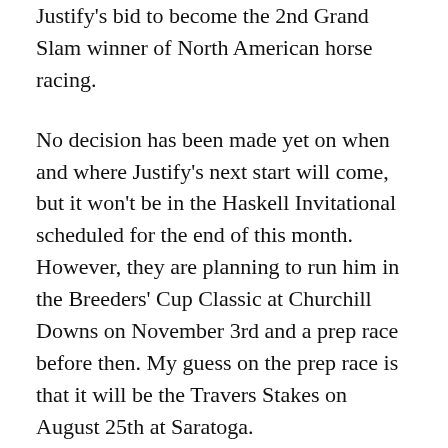Justify's bid to become the 2nd Grand Slam winner of North American horse racing.
No decision has been made yet on when and where Justify's next start will come, but it won't be in the Haskell Invitational scheduled for the end of this month. However, they are planning to run him in the Breeders' Cup Classic at Churchill Downs on November 3rd and a prep race before then. My guess on the prep race is that it will be the Travers Stakes on August 25th at Saratoga.
Below are the top four horses in the older horse division that I feel are the biggest threats in preventing Justify joining American Pharoah as a second horse racing grand slam holder.